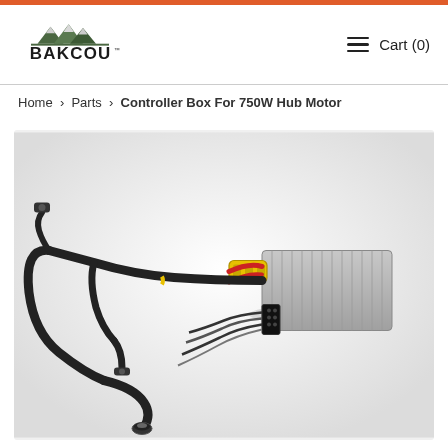BAKCOU — Cart (0)
Home › Parts › Controller Box For 750W Hub Motor
[Figure (photo): A silver rectangular motor controller box with multiple black wires, a yellow XT60 connector, red power wires, and multi-pin connectors, on a white background.]